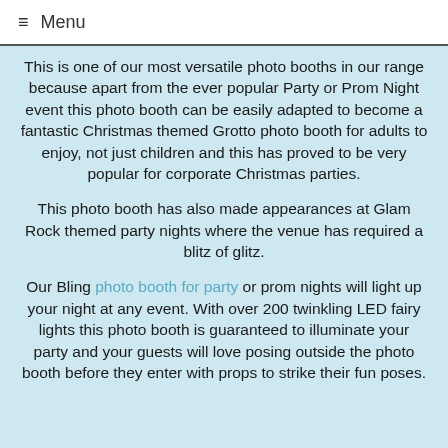≡ Menu
This is one of our most versatile photo booths in our range because apart from the ever popular Party or Prom Night event this photo booth can be easily adapted to become a fantastic Christmas themed Grotto photo booth for adults to enjoy, not just children and this has proved to be very popular for corporate Christmas parties.
This photo booth has also made appearances at Glam Rock themed party nights where the venue has required a blitz of glitz.
Our Bling photo booth for party or prom nights will light up your night at any event. With over 200 twinkling LED fairy lights this photo booth is guaranteed to illuminate your party and your guests will love posing outside the photo booth before they enter with props to strike their fun poses.